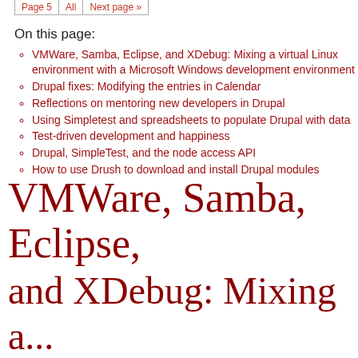Page 5 | All | Next page »
On this page:
VMWare, Samba, Eclipse, and XDebug: Mixing a virtual Linux environment with a Microsoft Windows development environment
Drupal fixes: Modifying the entries in Calendar
Reflections on mentoring new developers in Drupal
Using Simpletest and spreadsheets to populate Drupal with data
Test-driven development and happiness
Drupal, SimpleTest, and the node access API
How to use Drush to download and install Drupal modules
VMWare, Samba, Eclipse, and XDebug: Mixing a...